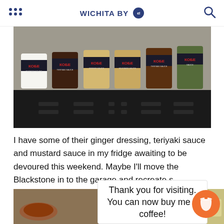WICHITA BY [logo]
[Figure (photo): Six KOBE brand sauce cups in various colors (white, brown, tan/yellow, light brown, dark brown, green) lined up on a granite counter above a black appliance/storage unit]
I have some of their ginger dressing, teriyaki sauce and mustard sauce in my fridge awaiting to be devoured this weekend. Maybe I'll move the Blackstone in to the garage and recreate s
[Figure (photo): Partial view of food dishes — soup/dipping sauce on the left and food on the right]
Thank you for visiting. You can now buy me a coffee!